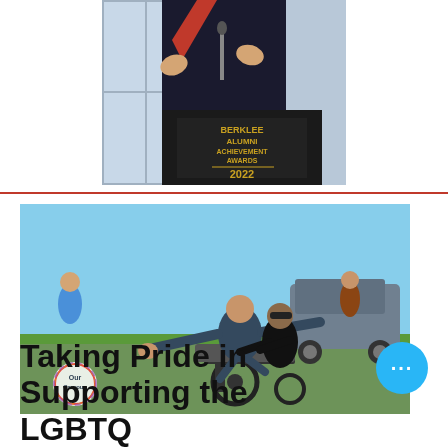[Figure (photo): Person speaking at a podium labeled 'Berklee Alumni Achievement Awards 2022', wearing academic regalia with red detail, gesturing with hands raised.]
[Figure (photo): Outdoor performance photo: a person in a wheelchair with arms outstretched being supported by another person in black attire and sunglasses. A colorful 'Our Campus' logo is visible in the lower left. Background shows a sunny outdoor campus setting with SUV and spectators.]
Taking Pride in Supporting the LGBTQ